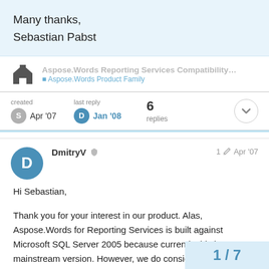Many thanks,
Sebastian Pabst
Aspose.Words Reporting Services Compatibility...
Aspose.Words Product Family
created Apr '07   last reply Jan '08   6 replies
DmitryV   1  Apr '07
Hi Sebastian,
Thank you for your interest in our product. Alas, Aspose.Words for Reporting Services is built against Microsoft SQL Server 2005 because currently this is a mainstream version. However, we do consider to implement the support for SQL Server 2000 as well because it seems there is a brisk demand for it, too.
Regarding the second part of your questio
1 / 7